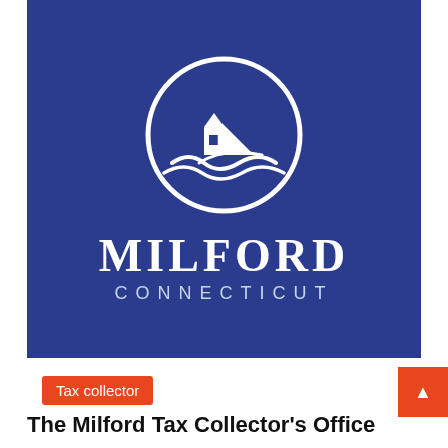[Figure (logo): Milford Connecticut official city logo: white circle containing a sailboat, lighthouse/building, and wavy water lines, on a dark blue background. Below the emblem: 'MILFORD' in large white serif letters and 'CONNECTICUT' in smaller spaced white letters.]
Tax collector
The Milford Tax Collector's Office